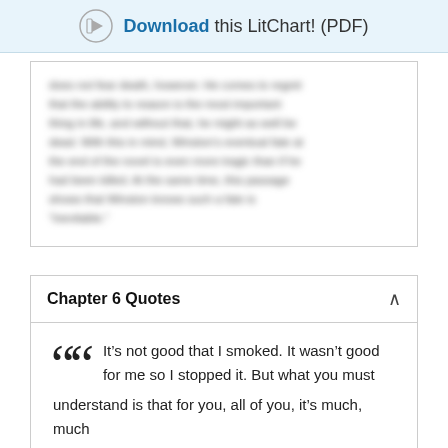Download this LitChart! (PDF)
[Blurred body text content - obscured in original]
Chapter 6 Quotes
It’s not good that I smoked. It wasn’t good for me so I stopped it. But what you must understand is that for you, all of you, it’s much, much